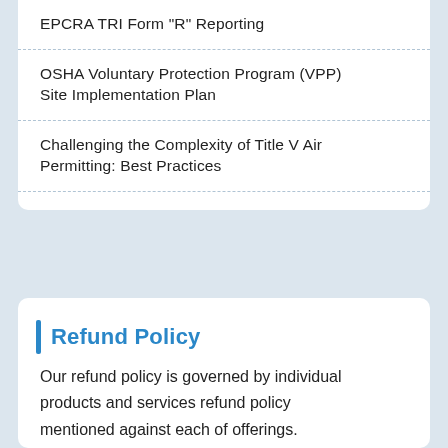EPCRA TRI Form "R" Reporting
OSHA Voluntary Protection Program (VPP) Site Implementation Plan
Challenging the Complexity of Title V Air Permitting: Best Practices
Refund Policy
Our refund policy is governed by individual products and services refund policy mentioned against each of offerings. However in absence of specific refund policy